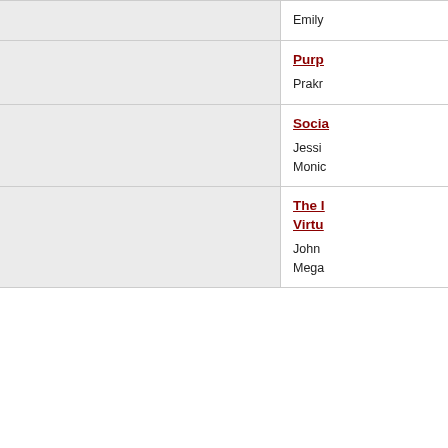Emily
Purp...
Prakr...
Socia...
Jessi...
Monic...
The M...
Virtu...
John
Mega...
2020
Saturday, June 6th
10:00 AM
Brok...
Eurip...
Mega...
10:00...